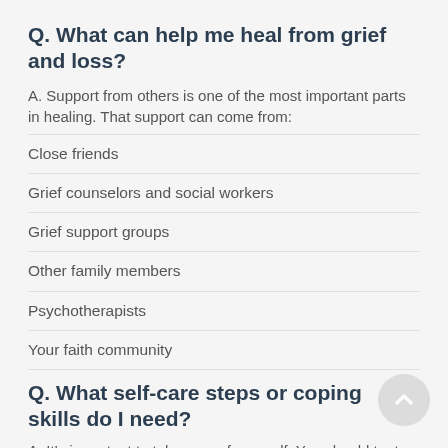Q. What can help me heal from grief and loss?
A. Support from others is one of the most important parts in healing. That support can come from:
Close friends
Grief counselors and social workers
Grief support groups
Other family members
Psychotherapists
Your faith community
Q. What self-care steps or coping skills do I need?
A. It's important to take care of yourself. You should try to